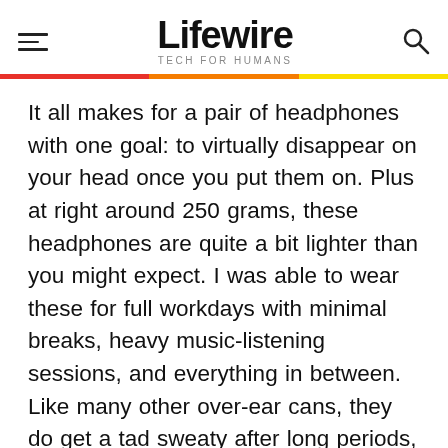Lifewire TECH FOR HUMANS
It all makes for a pair of headphones with one goal: to virtually disappear on your head once you put them on. Plus at right around 250 grams, these headphones are quite a bit lighter than you might expect. I was able to wear these for full workdays with minimal breaks, heavy music-listening sessions, and everything in between. Like many other over-ear cans, they do get a tad sweaty after long periods, but really no worse than anything else I've tried.
Durability and Build Quality: Most of